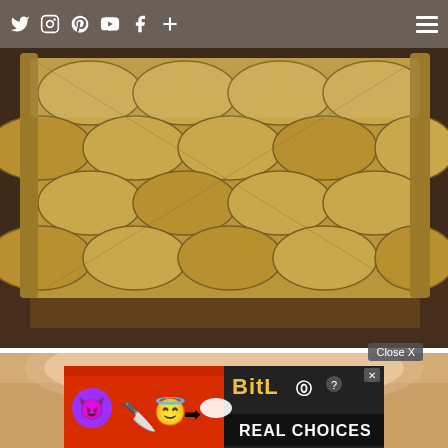Social media navigation bar with icons: Twitter, Instagram, Pinterest, YouTube, Facebook, Plus, and hamburger menu
[Figure (photo): Close-up photo of a gold/bronze metallic quilted handbag with diamond pattern stitching, displayed on a reflective surface]
[Figure (photo): Partial photo of a pink/nude ceramic or porcelain vase or sculpture, partially visible below the first image]
[Figure (screenshot): Advertisement overlay: BitLife Real Choices mobile game ad with emoji characters (devil, woman, angel) on red/orange background. Close X button visible above.]